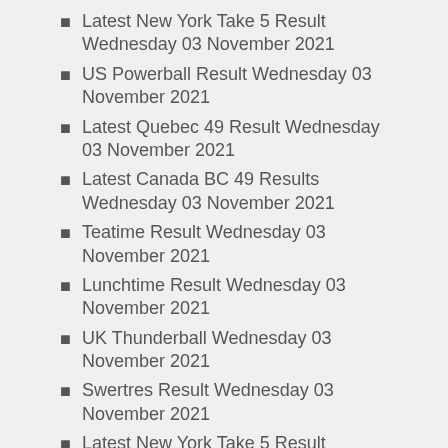Latest New York Take 5 Result Wednesday 03 November 2021
US Powerball Result Wednesday 03 November 2021
Latest Quebec 49 Result Wednesday 03 November 2021
Latest Canada BC 49 Results Wednesday 03 November 2021
Teatime Result Wednesday 03 November 2021
Lunchtime Result Wednesday 03 November 2021
UK Thunderball Wednesday 03 November 2021
Swertres Result Wednesday 03 November 2021
Latest New York Take 5 Result Tuesday 02 November 2021
Teatime Result Tuesday 02